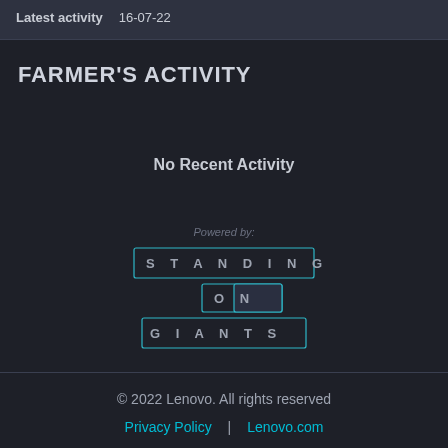Latest activity   16-07-22
FARMER'S ACTIVITY
No Recent Activity
[Figure (logo): Standing On Giants logo — text arranged in a grid pattern with letters S T A N D I N G on top row, O N in middle, G I A N T S on bottom row, styled with a teal/cyan outlined box around each row]
© 2022 Lenovo. All rights reserved   Privacy Policy | Lenovo.com